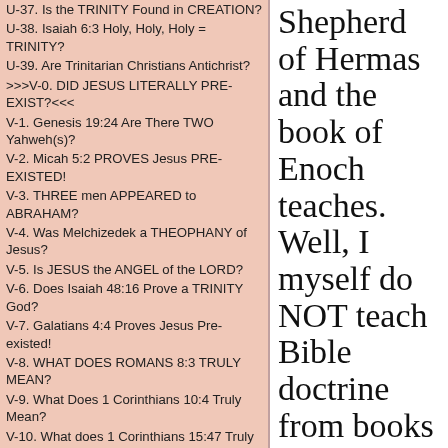U-37. Is the TRINITY Found in CREATION?
U-38. Isaiah 6:3 Holy, Holy, Holy = TRINITY?
U-39. Are Trinitarian Christians Antichrist?
>>>V-0. DID JESUS LITERALLY PRE-EXIST?<<<
V-1. Genesis 19:24 Are There TWO Yahweh(s)?
V-2. Micah 5:2 PROVES Jesus PRE-EXISTED!
V-3. THREE men APPEARED to ABRAHAM?
V-4. Was Melchizedek a THEOPHANY of Jesus?
V-5. Is JESUS the ANGEL of the LORD?
V-6. Does Isaiah 48:16 Prove a TRINITY God?
V-7. Galatians 4:4 Proves Jesus Pre-existed!
V-8. WHAT DOES ROMANS 8:3 TRULY MEAN?
V-9. What Does 1 Corinthians 10:4 Truly Mean?
V-10. What does 1 Corinthians 15:47 Truly Mean
V-11. What does 2 Corinthians 8:9 Truly Mean?
V-12. What Does Ephesians 4:10 TRULY MEAN?
V-13. What Does Hebrews 1:1,2 TRULY MEAN?
V-14. What Does Hebrews 2:14-17 TRULY Mean?
V-15. What does Hebrews 2:16,17 TRULY Mean?
V-16. Hebrews 5:8 THOUGH he was a SON!
V-17. What Does Hebrews 5:8 TRULY MEAN?
V-18. What Does Hebrews 10:5 TRULY MEAN?
V-19. What Does Hebrews 13:8 TRULY MEAN?
V-20. Proverbs 8:22-31 Proves Jesus Pre-existed!
Shepherd of Hermas and the book of Enoch teaches. Well, I myself do NOT teach Bible doctrine from books that are NOT in the 66 books of the Holy